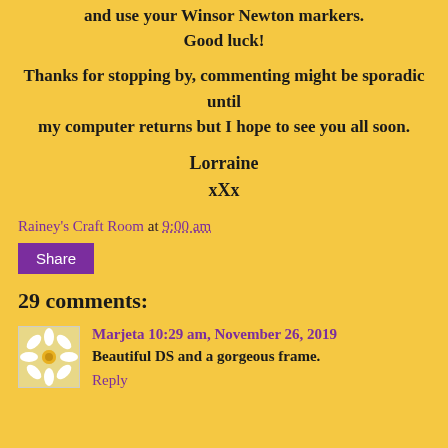and use your Winsor Newton markers.
Good luck!
Thanks for stopping by, commenting might be sporadic until my computer returns but I hope to see you all soon.
Lorraine
xXx
Rainey's Craft Room at 9:00 am
Share
29 comments:
Marjeta  10:29 am, November 26, 2019
Beautiful DS and a gorgeous frame.
Reply